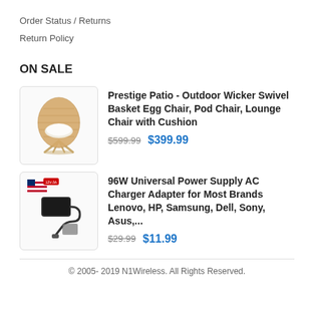Order Status / Returns
Return Policy
ON SALE
[Figure (photo): Wicker swivel basket egg chair with white cushion]
Prestige Patio - Outdoor Wicker Swivel Basket Egg Chair, Pod Chair, Lounge Chair with Cushion
$599.99  $399.99
[Figure (photo): 96W Universal Power Supply AC Charger Adapter with US flag and product accessories]
96W Universal Power Supply AC Charger Adapter for Most Brands Lenovo, HP, Samsung, Dell, Sony, Asus,...
$29.99  $11.99
© 2005- 2019 N1Wireless. All Rights Reserved.